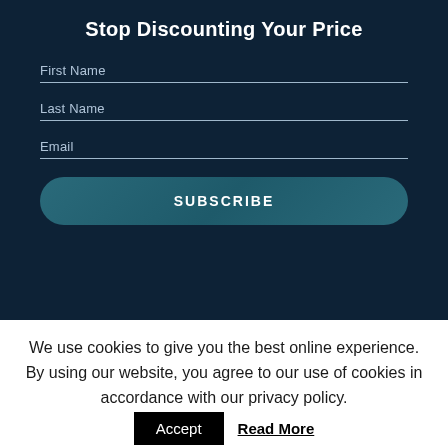Stop Discounting Your Price
First Name
Last Name
Email
SUBSCRIBE
We use cookies to give you the best online experience. By using our website, you agree to our use of cookies in accordance with our privacy policy.
Accept
Read More